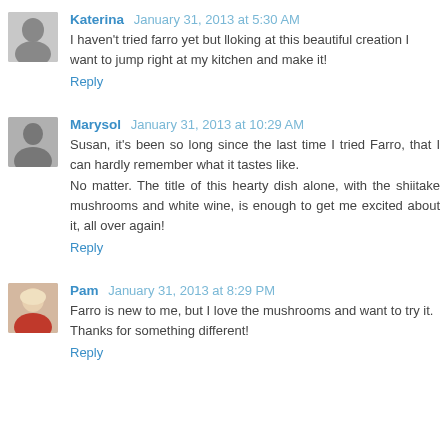Katerina January 31, 2013 at 5:30 AM
I haven't tried farro yet but lloking at this beautiful creation I want to jump right at my kitchen and make it!
Reply
Marysol January 31, 2013 at 10:29 AM
Susan, it's been so long since the last time I tried Farro, that I can hardly remember what it tastes like. No matter. The title of this hearty dish alone, with the shiitake mushrooms and white wine, is enough to get me excited about it, all over again!
Reply
Pam January 31, 2013 at 8:29 PM
Farro is new to me, but I love the mushrooms and want to try it. Thanks for something different!
Reply